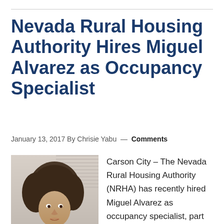Nevada Rural Housing Authority Hires Miguel Alvarez as Occupancy Specialist
January 13, 2017 By Chrisie Yabu — Comments
[Figure (photo): Headshot photo of Miguel Alvarez, a young person with curly medium-length hair wearing a dark patterned shirt, in an office setting]
Carson City – The Nevada Rural Housing Authority (NRHA) has recently hired Miguel Alvarez as occupancy specialist, part of the Rental and Housing Programs team